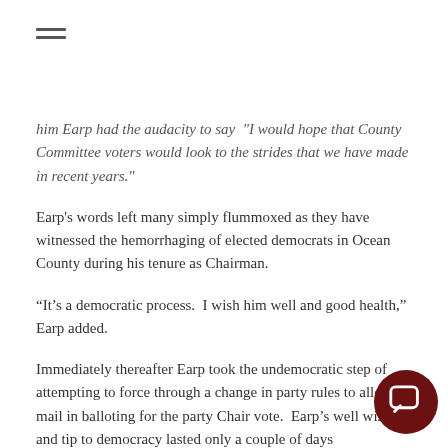≡
him Earp had the audacity to say  "I would hope that County Committee voters would look to the strides that we have made in recent years."
Earp's words left many simply flummoxed as they have witnessed the hemorrhaging of elected democrats in Ocean County during his tenure as Chairman.
“It’s a democratic process.  I wish him well and good health,” Earp added.
Immediately thereafter Earp took the undemocratic step of attempting to force through a change in party rules to allow mail in balloting for the party Chair vote.  Earp's well wishes and tip to democracy lasted only a couple of days
[Figure (other): Dark red circular chat/message button icon in the bottom right corner]